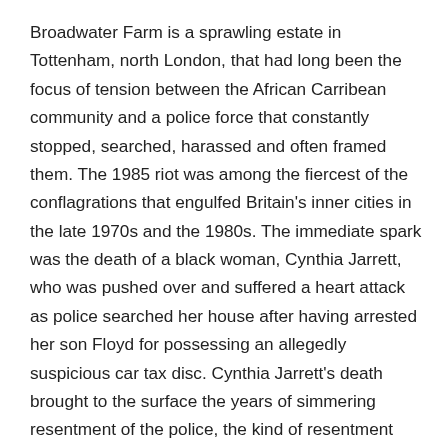Broadwater Farm is a sprawling estate in Tottenham, north London, that had long been the focus of tension between the African Carribean community and a police force that constantly stopped, searched, harassed and often framed them. The 1985 riot was among the fiercest of the conflagrations that engulfed Britain's inner cities in the late 1970s and the 1980s. The immediate spark was the death of a black woman, Cynthia Jarrett, who was pushed over and suffered a heart attack as police searched her house after having arrested her son Floyd for possessing an allegedly suspicious car tax disc. Cynthia Jarrett's death brought to the surface the years of simmering resentment of the police, the kind of resentment that had already sparked off riots in Brixton, Bristol, Toxteth and elsewhere. In the midst of the riot PC Blakelock was hacked to death with machetes.